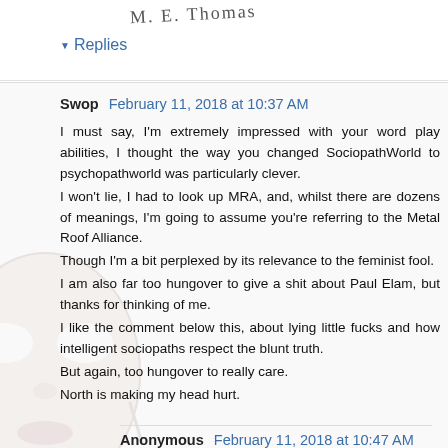[Figure (illustration): Handwritten cursive text reading 'M. E. Thomas' at top of page]
▾ Replies
Swop  February 11, 2018 at 10:37 AM
I must say, I'm extremely impressed with your word play abilities, I thought the way you changed SociopathWorld to psychopathworld was particularly clever.
I won't lie, I had to look up MRA, and, whilst there are dozens of meanings, I'm going to assume you're referring to the Metal Roof Alliance.
Though I'm a bit perplexed by its relevance to the feminist fool.
I am also far too hungover to give a shit about Paul Elam, but thanks for thinking of me.
I like the comment below this, about lying little fucks and how intelligent sociopaths respect the blunt truth.
But again, too hungover to really care.
North is making my head hurt.
[Figure (photo): A white/pale ceramic or plastic mask face (like a theater mask) partially visible behind the comment text, semi-transparent]
Anonymous  February 11, 2018 at 10:47 AM